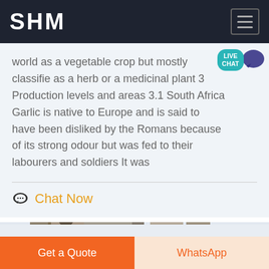SHM
world as a vegetable crop but mostly classified as a herb or a medicinal plant 3 Production levels and areas 3.1 South Africa Garlic is native to Europe and is said to have been disliked by the Romans because of its strong odour but was fed to their labourers and soldiers It was
Chat Now
[Figure (photo): Partial view of industrial machinery/equipment at the bottom of the page]
Get a Quote
WhatsApp